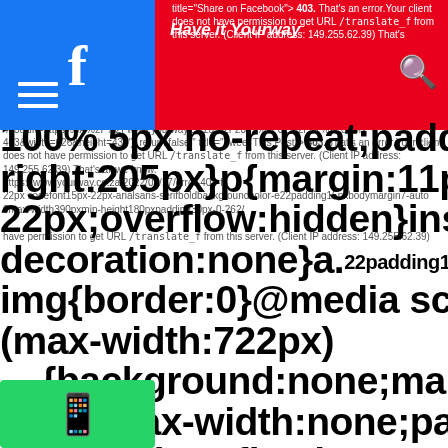[Figure (screenshot): Screenshot of a web browser error page overlaid with large bold CSS code text. The page shows a red header bar with a Facebook icon (blue block), a brand name 'Have it Yourway', a search icon, and an error message about 403 permission denied for /translate_f URL. Behind and overlapping is large bold black CSS code text reading: '100% 5px no-repeat;padding-right:205px}p{margin:11px 0 22px;overflow:hidden}ins{color:#777;text-decoration:none}a.22padding15pxbodymargin7-auto 0max-width390pxmin-height180pxpadding30px-0-262/ img{border:0}@media screen and (max-width:722px){background:none;margin-top:0;max-width:none;padding-right:0}#logo{background:url(//www.g no-repeat;margin-left:-5px}@media only screen and (min-resolution:192dpi) #logo{background:url(//www.google.c no-repeat 0% 0%/100% 100%;-moz-border'. Twitter and WhatsApp blue/green icon blocks on the left. Small error text repeats multiple times.]
title="Share on Facebook"> 403. That's an error.Your client does not have permission to get URL /translate_f from this server. (Client IP address: 149.255.62.39) That's
100% 5px no-repeat;padding-right:205px}p{margin:11px 0 22px;overflow:hidden}ins{color:#777;text-decoration:none}a.22padding15pxbodymargin7-auto 0max-width390pxmin-height180pxpadding30px-0-262/ img{border:0}@media screen and (max-width:722px){background:none;margin-top:0;max-width:none;padding-right:0}#logo{background:url(//www.g no-repeat;margin-left:-5px}@media only screen and (min-resolution:192dpi) #logo{background:url(//www.google.c no-repeat 0% 0%/100% 100%;-moz-border
403. That's an error.Your client does not have permission to get URL /translate_f from this server. (Client IP address: 149.255.62.39)